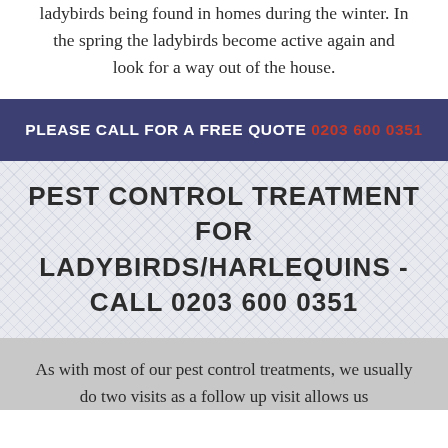ladybirds being found in homes during the winter. In the spring the ladybirds become active again and look for a way out of the house.
PLEASE CALL FOR A FREE QUOTE 0203 600 0351
PEST CONTROL TREATMENT FOR LADYBIRDS/HARLEQUINS - CALL 0203 600 0351
As with most of our pest control treatments, we usually do two visits as a follow up visit allows us